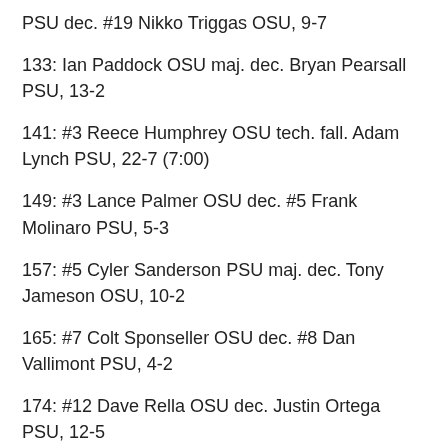PSU dec. #19 Nikko Triggas OSU, 9-7
133: Ian Paddock OSU maj. dec. Bryan Pearsall PSU, 13-2
141: #3 Reece Humphrey OSU tech. fall. Adam Lynch PSU, 22-7 (7:00)
149: #3 Lance Palmer OSU dec. #5 Frank Molinaro PSU, 5-3
157: #5 Cyler Sanderson PSU maj. dec. Tony Jameson OSU, 10-2
165: #7 Colt Sponseller OSU dec. #8 Dan Vallimont PSU, 4-2
174: #12 Dave Rella OSU dec. Justin Ortega PSU, 12-5
184: #12 David Erwin PSU maj. dec. T.C. Pendleton OSU, 15-2
197: C.J. Magrum OSU dec. David Crowell PSU, 10-6; 11-21